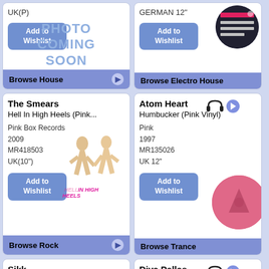UK(P)
PHOTO COMING SOON
GERMAN 12"
Add to Wishlist
Add to Wishlist
Browse House
Browse Electro House
The Smears
Hell In High Heels (Pink...
Pink Box Records
2009
MR418503
UK(10")
Add to Wishlist
Browse Rock
Atom Heart
Humbucker (Pink Vinyl)
Pink
1997
MR135026
UK 12"
Add to Wishlist
Browse Trance
Sikk
Muezzin
Pink Star Club...
2008
MR293065
GERMAN 12"
PHOTO
Diva Pellas
Volume 1
Pink
1993
MR73177
USA(P)